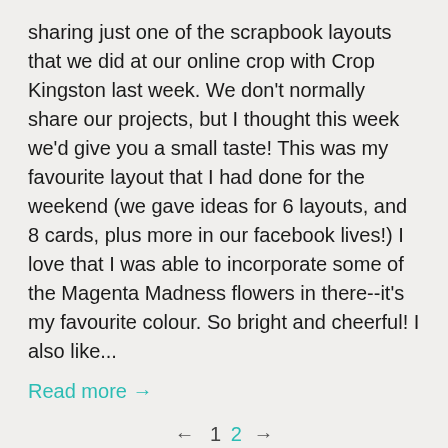sharing just one of the scrapbook layouts that we did at our online crop with Crop Kingston last week.  We don't normally share our projects, but I thought this week we'd give you a small taste!  This was my favourite layout that I had done for the weekend (we gave ideas for 6 layouts, and 8 cards, plus more in our facebook lives!) I love that I was able to incorporate some of the Magenta Madness flowers in there--it's my favourite colour.  So bright and cheerful!  I also like...
Read more →
← 1 2 →
Recent Articles
Shauna Mikuliak Tea Cup
August 22, 2022